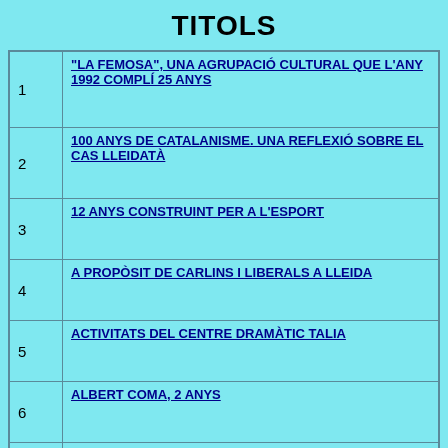TITOLS
| # | Title |
| --- | --- |
| 1 | "LA FEMOSA", UNA AGRUPACIÓ CULTURAL QUE L'ANY 1992 COMPLÍ 25 ANYS |
| 2 | 100 ANYS DE CATALANISME. UNA REFLEXIÓ SOBRE EL CAS LLEIDATÀ |
| 3 | 12 ANYS CONSTRUINT PER A L'ESPORT |
| 4 | A PROPÒSIT DE CARLINS I LIBERALS A LLEIDA |
| 5 | ACTIVITATS DEL CENTRE DRAMÀTIC TALIA |
| 6 | ALBERT COMA, 2 ANYS |
| 7 | ALFONS DE BORJA, CALIXT III EL PAPA QUE FÉU RESSONARE EL NOM DE LLEIDA |
| 8 | ANTONI LACASA: LA PASSIÓ PELS FÒSSILS |